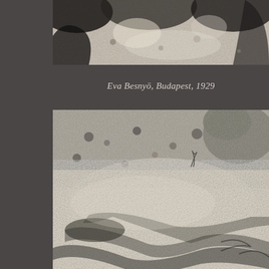[Figure (photo): Black and white photograph showing close-up of rocks or stones with partial dark silhouettes, cropped at top of page, by Eva Besnyö, Budapest, 1929]
Eva Besnyö, Budapest, 1929
[Figure (photo): Black and white photograph of a dirt path or unpaved ground with scattered pebbles and stones, with tree shadows cast across the lower portion, by Eva Besnyö, Budapest, 1929]